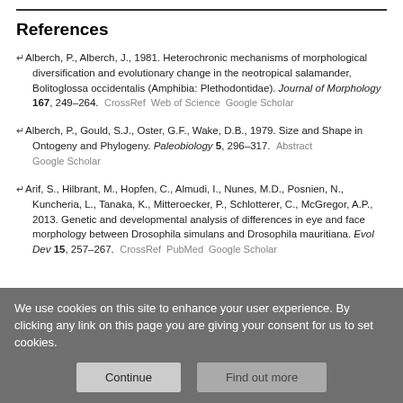References
Alberch, P., Alberch, J., 1981. Heterochronic mechanisms of morphological diversification and evolutionary change in the neotropical salamander, Bolitoglossa occidentalis (Amphibia: Plethodontidae). Journal of Morphology 167, 249–264. CrossRef Web of Science Google Scholar
Alberch, P., Gould, S.J., Oster, G.F., Wake, D.B., 1979. Size and Shape in Ontogeny and Phylogeny. Paleobiology 5, 296–317. Abstract Google Scholar
Arif, S., Hilbrant, M., Hopfen, C., Almudi, I., Nunes, M.D., Posnien, N., Kuncheria, L., Tanaka, K., Mitteroecker, P., Schlotterer, C., McGregor, A.P., 2013. Genetic and developmental analysis of differences in eye and face morphology between Drosophila simulans and Drosophila mauritiana. Evol Dev 15, 257–267. CrossRef PubMed Google Scholar
We use cookies on this site to enhance your user experience. By clicking any link on this page you are giving your consent for us to set cookies.